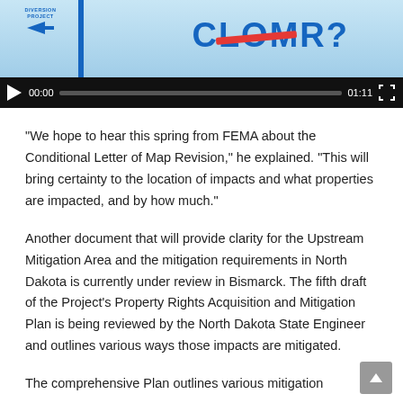[Figure (screenshot): Video player screenshot showing a video thumbnail with 'CLOMR?' text in blue with a red strikethrough, a diversion project logo, a blue vertical bar, and video controls bar showing play button, 00:00 timestamp, progress bar, 01:11 duration, and fullscreen icon.]
“We hope to hear this spring from FEMA about the Conditional Letter of Map Revision,” he explained. “This will bring certainty to the location of impacts and what properties are impacted, and by how much.”
Another document that will provide clarity for the Upstream Mitigation Area and the mitigation requirements in North Dakota is currently under review in Bismarck. The fifth draft of the Project’s Property Rights Acquisition and Mitigation Plan is being reviewed by the North Dakota State Engineer and outlines various ways those impacts are mitigated.
The comprehensive Plan outlines various mitigation